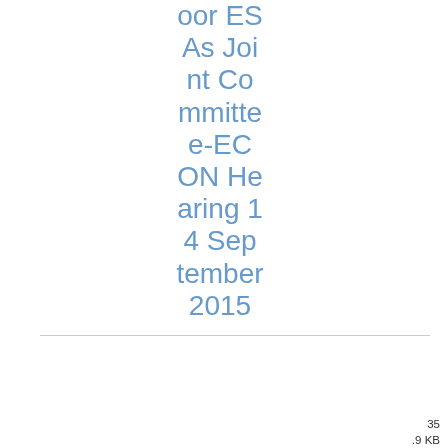oor ESAs Joint Committee-ECON Hearing 14 September 2015
| Date | Reference | Title | Category | Type |  | Format | Size |
| --- | --- | --- | --- | --- | --- | --- | --- |
| 18/07/2016 | 2016/1139 APPLICATION | Application for | MiFID - Secondary Markets | Reference |  | DOCX | 35.9 KB |